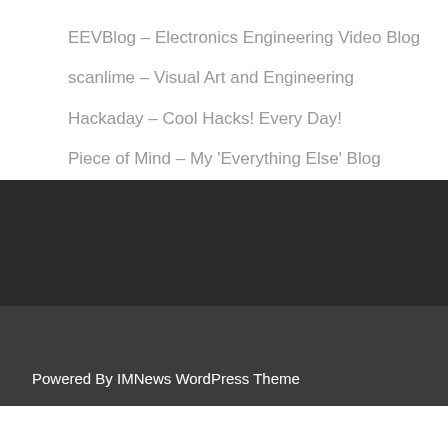EEVBlog – Electronics Engineering Video Blog
scanlime – Visual Art and Engineering
Hackaday – Cool Hacks! Every Day!
Piece of Mind – My 'Everything Else' Blog
Powered By IMNews WordPress Theme